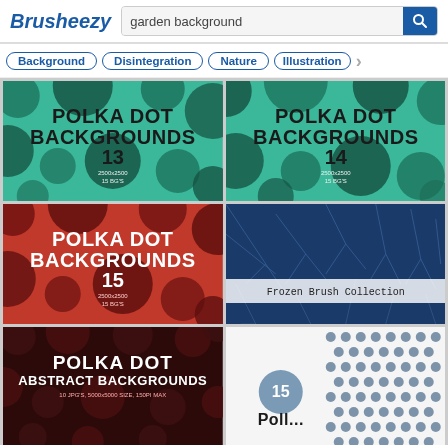Brusheezy  garden background
Background
Disintegration
Nature
Illustration
[Figure (illustration): Polka Dot Backgrounds 13 - teal background with large dark polka dots]
[Figure (illustration): Polka Dot Backgrounds 14 - teal background with large dark polka dots]
[Figure (illustration): Polka Dot Backgrounds 15 - red background with large dark polka dots]
[Figure (illustration): Frozen Brush Collection - blue winter/frost brush textures]
[Figure (illustration): Polka Dot Abstract Backgrounds - dark red background with black polka dots]
[Figure (illustration): Polka dot patterns on white background - number 15 badge visible]